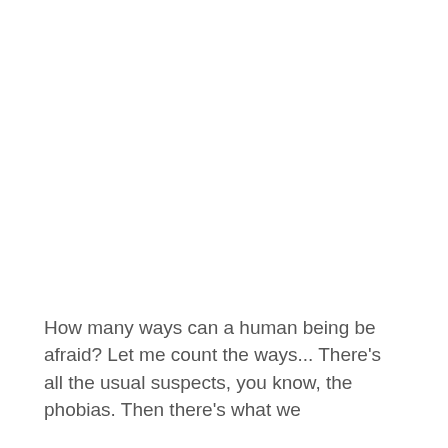How many ways can a human being be afraid? Let me count the ways... There's all the usual suspects, you know, the phobias. Then there's what we